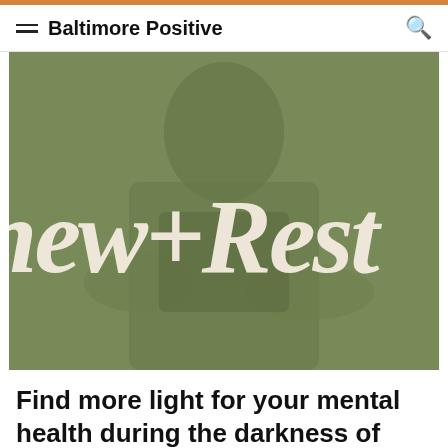Baltimore Positive
[Figure (photo): Green-tinted photo of a person holding a mug or book, with large cursive white text overlay reading 'new + Resto' (partially cropped). The image has a sage/olive green color wash.]
Find more light for your mental health during the darkness of winter and holidays